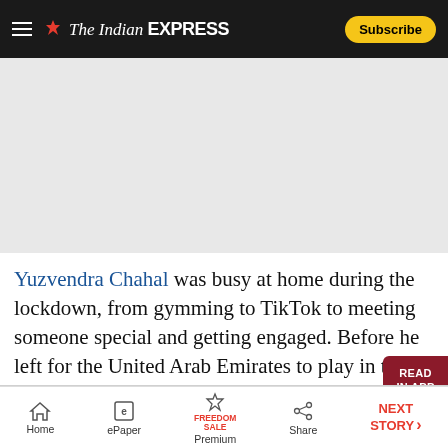The Indian Express — Subscribe
[Figure (other): Gray advertisement placeholder area]
Yuzvendra Chahal was busy at home during the lockdown, from gymming to TikTok to meeting someone special and getting engaged. Before he left for the United Arab Emirates to play in the [IPL], Chahal spoke to The Indian Express about the last five months, his cricket, and how he became a TikTok star.
Home | ePaper | Premium (FREEDOM SALE) | Share | NEXT STORY →